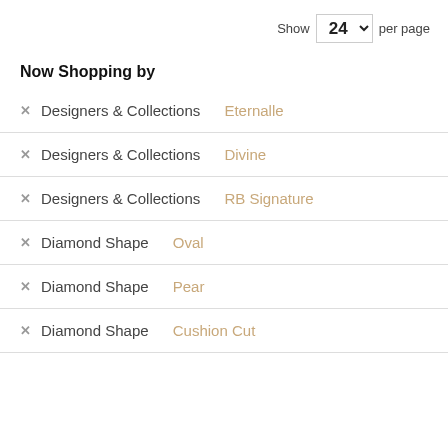Show 24 per page
Now Shopping by
× Designers & Collections Eternalle
× Designers & Collections Divine
× Designers & Collections RB Signature
× Diamond Shape Oval
× Diamond Shape Pear
× Diamond Shape Cushion Cut